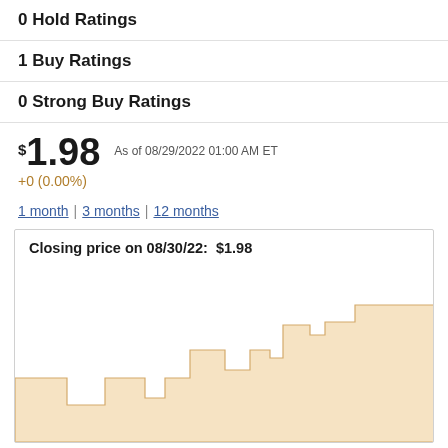0 Hold Ratings
1 Buy Ratings
0 Strong Buy Ratings
$1.98 As of 08/29/2022 01:00 AM ET +0 (0.00%)
1 month | 3 months | 12 months
[Figure (area-chart): Area chart showing closing price history, stepped shape with beige/tan fill, price at $1.98]